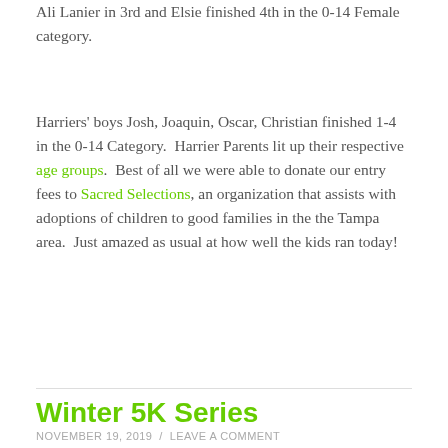Ali Lanier in 3rd and Elsie finished 4th in the 0-14 Female category.
Harriers' boys Josh, Joaquin, Oscar, Christian finished 1-4 in the 0-14 Category.  Harrier Parents lit up their respective age groups.  Best of all we were able to donate our entry fees to Sacred Selections, an organization that assists with adoptions of children to good families in the the Tampa area.  Just amazed as usual at how well the kids ran today!
Winter 5K Series
NOVEMBER 19, 2019 / LEAVE A COMMENT